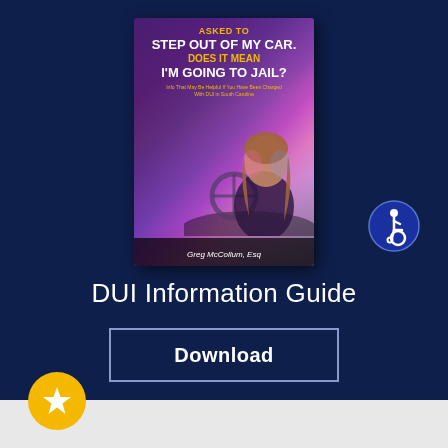[Figure (illustration): Book cover titled 'Asked to Step Out of My Car. Does It Mean I'm Going to Jail?' by Greg McCollum, Esq. Dark background with woman in car, colorful police light bokeh.]
[Figure (illustration): Accessibility icon — circular blue badge with wheelchair user symbol]
DUI Information Guide
Download
[Figure (illustration): Gold star rating icon in yellow circle at bottom left]